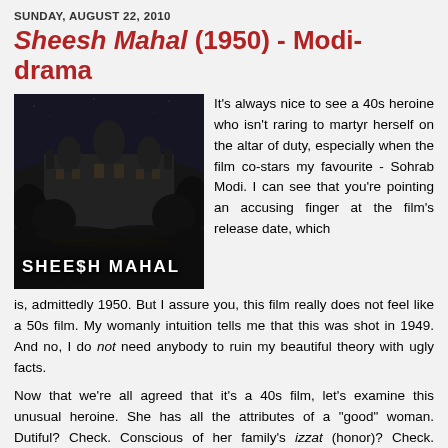SUNDAY, AUGUST 22, 2010
Sheesh Mahal (1950) - Modi-drama
[Figure (photo): Black and white movie still/title card for Sheesh Mahal showing a palace at night with the text 'SHEESH MAHAL' overlaid at the bottom]
It's always nice to see a 40s heroine who isn't raring to martyr herself on the altar of duty, especially when the film co-stars my favourite - Sohrab Modi. I can see that you're pointing an accusing finger at the film's release date, which is, admittedly 1950. But I assure you, this film really does not feel like a 50s film. My womanly intuition tells me that this was shot in 1949. And no, I do not need anybody to ruin my beautiful theory with ugly facts.
Now that we're all agreed that it's a 40s film, let's examine this unusual heroine. She has all the attributes of a "good" woman. Dutiful? Check. Conscious of her family's izzat (honor)? Check. Always sticking to the straight and narrow and making sure that others do, too? Check. But unlike a lot of heroines, Dixit is not in the least...